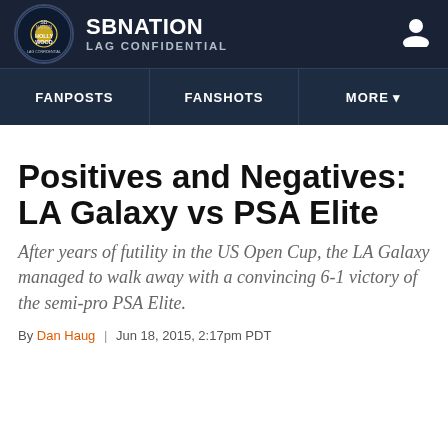SBNATION LAG CONFIDENTIAL
FANPOSTS | FANSHOTS | MORE
Positives and Negatives: LA Galaxy vs PSA Elite
After years of futility in the US Open Cup, the LA Galaxy managed to walk away with a convincing 6-1 victory of the semi-pro PSA Elite.
By Dan Haug | Jun 18, 2015, 2:17pm PDT